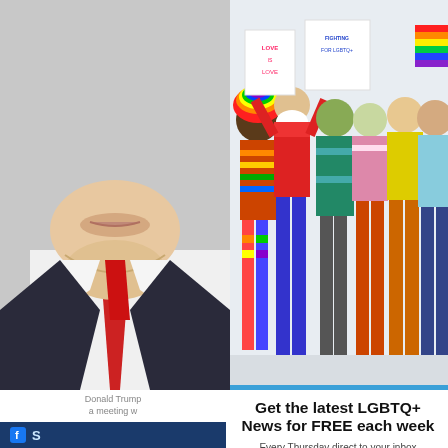[Figure (photo): Partial side view of Donald Trump wearing a red tie on the left side]
[Figure (photo): Group of diverse LGBTQ+ activists holding rainbow flags and signs saying 'Love is Love' and 'Fighting for LGBTQ+', wearing colorful rainbow clothing]
Donald Trump a meeting w (Blade photos capt
Donald Tru 2016 electi gay Fox Ne amid conce potential ch Mike Pence
Get the latest LGBTQ+ News for FREE each week
Every Thursday direct to your inbox
Enter your email here...
Yes! I want FREE LGBTQ News